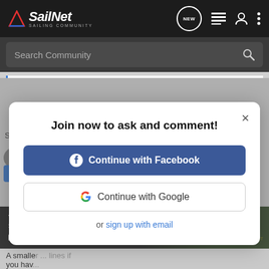SailNet SAILING COMMUNITY
Search Community
Click to expand...
Join now to ask and comment!
Continue with Facebook
Continue with Google
or sign up with email
#7   Jan 17, 2000
[Figure (screenshot): Chevrolet Silverado 2022 advertisement banner with truck image and Explore button]
A smaller ... lines if you hav...